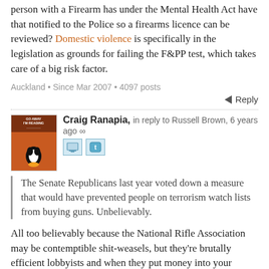person with a Firearm has under the Mental Health Act have that notified to the Police so a firearms licence can be reviewed? Domestic violence is specifically in the legislation as grounds for failing the F&PP test, which takes care of a big risk factor.
Auckland • Since Mar 2007 • 4097 posts
Reply
Craig Ranapia, in reply to Russell Brown, 6 years ago ∞
The Senate Republicans last year voted down a measure that would have prevented people on terrorism watch lists from buying guns. Unbelievably.
All too believably because the National Rifle Association may be contemptible shit-weasels, but they're brutally efficient lobbyists and when they put money into your campaign you tend to stay brought. Or else. Hell, earlier this year the Senate Majority Leader Mitch McConnell pretty much